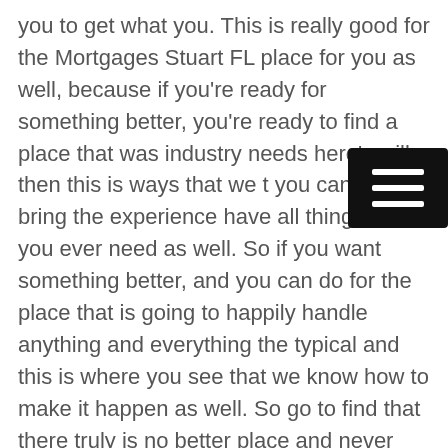you to get what you. This is really good for the Mortgages Stuart FL place for you as well, because if you're ready for something better, you're ready to find a place that was industry needs here's will, then this is ways that we t you can find a bring the experience have all things that you ever need as well. So if you want something better, and you can do for the place that is going to happily handle anything and everything the typical and this is where you see that we know how to make it happen as well. So go to find that there truly is no better place and never option for you to get a desire as well, because if you be better, and you anything as well, then we know that we have had for you.